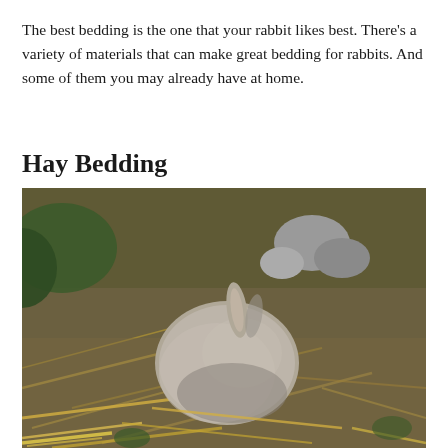The best bedding is the one that your rabbit likes best. There's a variety of materials that can make great bedding for rabbits. And some of them you may already have at home.
Hay Bedding
[Figure (photo): A small grey rabbit curled up and resting on dry hay and grass, with rocks and green plants visible in the background.]